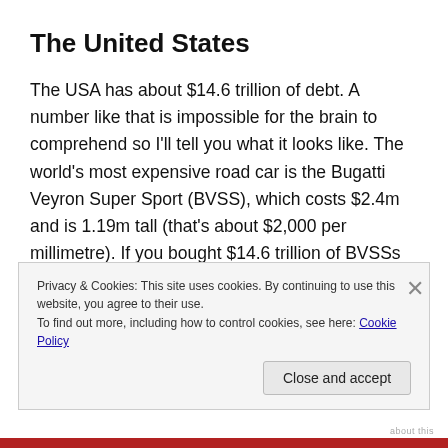The United States
The USA has about $14.6 trillion of debt. A number like that is impossible for the brain to comprehend so I'll tell you what it looks like. The world's most expensive road car is the Bugatti Veyron Super Sport (BVSS), which costs $2.4m and is 1.19m tall (that's about $2,000 per millimetre). If you bought $14.6 trillion of BVSSs and stacked them on top of each other they would form a tower 818 times the height of Mount Everest.
Privacy & Cookies: This site uses cookies. By continuing to use this website, you agree to their use.
To find out more, including how to control cookies, see here: Cookie Policy
Close and accept